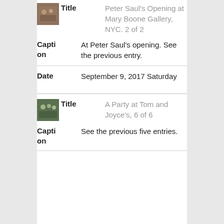[Figure (photo): Small thumbnail photo of people at an art gallery opening]
Title: Peter Saul's Opening at Mary Boone Gallery, NYC. 2 of 2
Caption: At Peter Saul's opening. See the previous entry.
Date: September 9, 2017 Saturday
[Figure (photo): Small thumbnail photo of people at a party]
Title: A Party at Tom and Joyce's, 6 of 6
Caption: See the previous five entries.